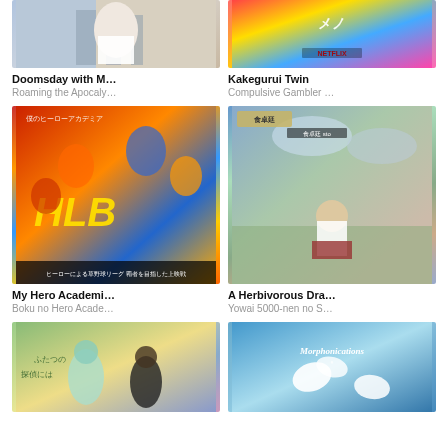[Figure (photo): Anime/manga cover art - Doomsday with M... showing a character in white against city background]
Doomsday with M…
Roaming the Apocaly…
[Figure (photo): Colorful anime cover art for Kakegurui Twin with Netflix badge]
Kakegurui Twin
Compulsive Gambler …
[Figure (photo): My Hero Academia movie poster showing HLB logo and anime characters]
My Hero Academi…
Boku no Hero Acade…
[Figure (photo): A Herbivorous Dragon anime cover showing a girl sitting outdoors]
A Herbivorous Dra…
Yowai 5000-nen no S…
[Figure (photo): Anime cover with characters against colorful background]
[Figure (photo): Morphonications anime cover with blue background and white flowers]